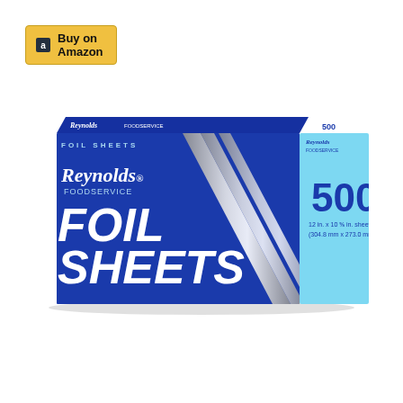[Figure (photo): Amazon 'Buy on Amazon' button with orange/yellow background and Amazon logo]
[Figure (photo): Reynolds Foodservice Foil Sheets box. Blue front face with white italic text reading 'Reynolds FOODSERVICE FOIL SHEETS'. Right side is light blue showing '500' in large blue numbers and '12 in. x 10 5/8 in. sheets (304.8 mm x 273.0 mm)'. Diagonal silver foil stripes run across the center of the box.]